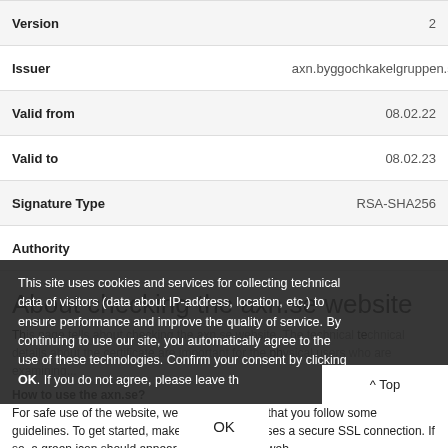| Field | Value |
| --- | --- |
| Version | 2 |
| Issuer | axn.byggochkakelgruppen.se |
| Valid from | 08.02.22 |
| Valid to | 08.02.23 |
| Signature Type | RSA-SHA256 |
| Authority |  |
About checking the axn.se website
This page tells you about checking the axn.se website. The technical details about the certificate are important for users who are checking the physical...
How to use the axn.se?
For safe use of the website, we recommend that you follow some guidelines. To get started, make sure your site uses a secure SSL connection. If so, a green icon should appear at the top of the web...
This site uses cookies and services for collecting technical data of visitors (data about IP-address, location, etc.) to ensure performance and improve the quality of service. By continuing to use our site, you automatically agree to the use of these technologies. Confirm your consent by clicking OK. If you do not agree, please leave th...